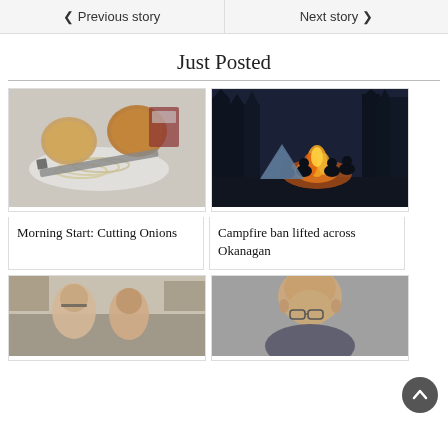< Previous story    Next story >
Just Posted
[Figure (photo): Onions sliced on a plate with a knife]
Morning Start: Cutting Onions
[Figure (photo): Group of people sitting around a campfire in the forest at night]
Campfire ban lifted across Okanagan
[Figure (photo): Two people looking at something, partial view]
[Figure (photo): Bald man with glasses, partial view]